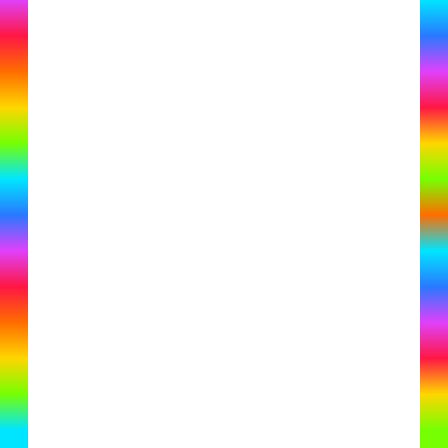Follow Your Meaningful Path
November 28, 2015   gentlekindness
[Figure (illustration): Colorful motivational graphic with geometric diamond/square shapes on a multi-colored background (blue, pink, orange, lavender) with text: 'Create Your Own Style', 'Find Your Voice', 'Manifest Your Vision' in dark purple handwritten-style font.]